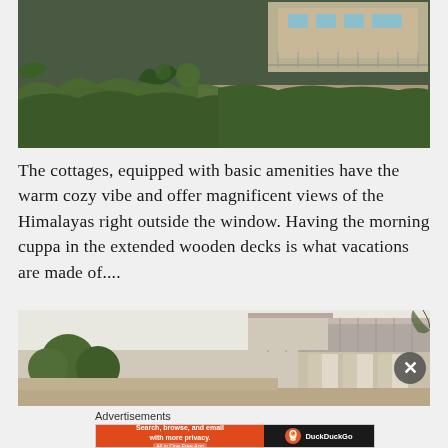[Figure (photo): Exterior view of cottages on a hillside with rocky terrain, green grass, and vegetation in the foreground, with a building featuring a balcony/deck visible in the background at dusk or evening.]
The cottages, equipped with basic amenities have the warm cozy vibe and offer magnificent views of the Himalayas right outside the window. Having the morning cuppa in the extended wooden decks is what vacations are made of....
[Figure (photo): Exterior view of a building with a metal or tin roof, wooden structure with curtains, surrounded by trees.]
Advertisements
[Figure (infographic): DuckDuckGo advertisement banner: 'Search, browse, and email with more privacy. All in One Free App' on orange background with DuckDuckGo logo on dark background.]